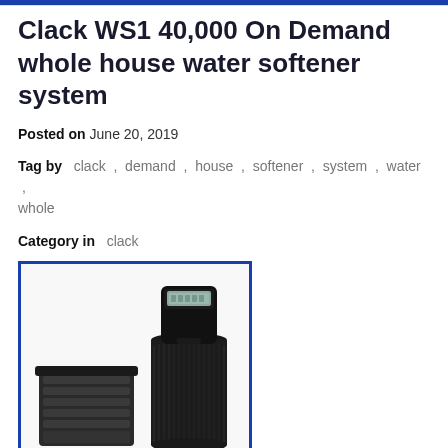Clack WS1 40,000 On Demand whole house water softener system
Posted on June 20, 2019
Tag by  clack , demand , house , softener , system , water , whole
Category in  clack
[Figure (photo): Photo of a Clack WS1 water softener system with a tall black resin tank with a digital valve head on top and a square black brine/salt tank beside it, shown against a white background with a blue border frame.]